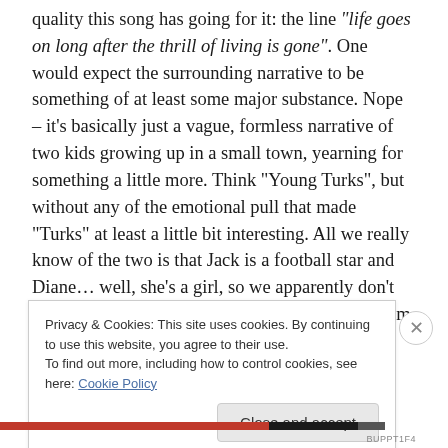quality this song has going for it: the line "life goes on long after the thrill of living is gone". One would expect the surrounding narrative to be something of at least some major substance. Nope – it's basically just a vague, formless narrative of two kids growing up in a small town, yearning for something a little more. Think "Young Turks", but without any of the emotional pull that made "Turks" at least a little bit interesting. All we really know of the two is that Jack is a football star and Diane… well, she's a girl, so we apparently don't need to know anything about her. I'll admit that I'm a sucker for that beginning guitar riff and
Privacy & Cookies: This site uses cookies. By continuing to use this website, you agree to their use.
To find out more, including how to control cookies, see here: Cookie Policy
Close and accept